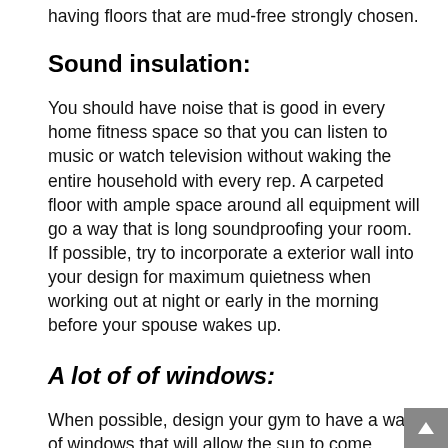having floors that are mud-free strongly chosen.
Sound insulation:
You should have noise that is good in every home fitness space so that you can listen to music or watch television without waking the entire household with every rep. A carpeted floor with ample space around all equipment will go a way that is long soundproofing your room. If possible, try to incorporate a exterior wall into your design for maximum quietness when working out at night or early in the morning before your spouse wakes up.
A lot of of windows:
When possible, design your gym to have a wall of windows that will allow the sun to come streaming in throughout the day. Well-placed lights is used too to ke